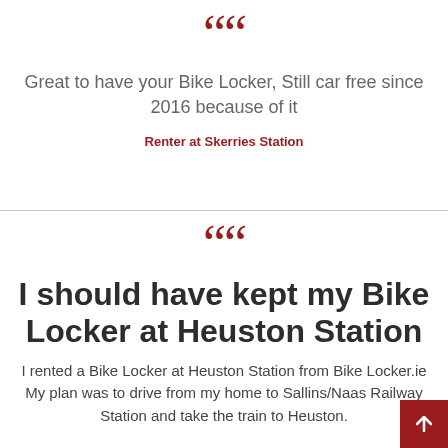““ Great to have your Bike Locker, Still car free since 2016 because of it
Renter at Skerries Station
““ I should have kept my Bike Locker at Heuston Station
I rented a Bike Locker at Heuston Station from Bike Locker.ie My plan was to drive from my home to Sallins/Naas Railway Station and take the train to Heuston.